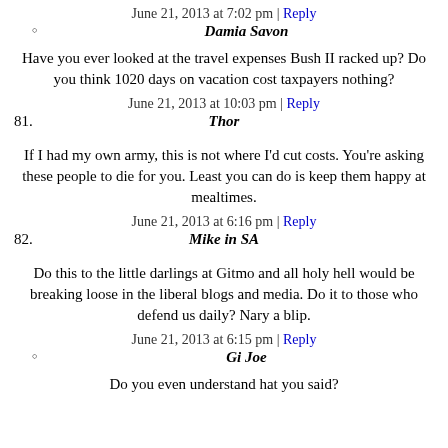June 21, 2013 at 7:02 pm | Reply
Damia Savon
Have you ever looked at the travel expenses Bush II racked up? Do you think 1020 days on vacation cost taxpayers nothing?
June 21, 2013 at 10:03 pm | Reply
81. Thor
If I had my own army, this is not where I'd cut costs. You're asking these people to die for you. Least you can do is keep them happy at mealtimes.
June 21, 2013 at 6:16 pm | Reply
82. Mike in SA
Do this to the little darlings at Gitmo and all holy hell would be breaking loose in the liberal blogs and media. Do it to those who defend us daily? Nary a blip.
June 21, 2013 at 6:15 pm | Reply
Gi Joe
Do you even understand hat you said?